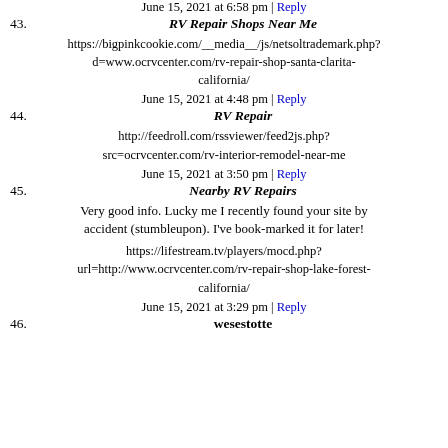June 15, 2021 at 6:58 pm | Reply
43. RV Repair Shops Near Me
https://bigpinkcookie.com/__media__/js/netsoltrademark.php?d=www.ocrvcenter.com/rv-repair-shop-santa-clarita-california/
June 15, 2021 at 4:48 pm | Reply
44. RV Repair
http://feedroll.com/rssviewer/feed2js.php?src=ocrvcenter.com/rv-interior-remodel-near-me
June 15, 2021 at 3:50 pm | Reply
45. Nearby RV Repairs
Very good info. Lucky me I recently found your site by accident (stumbleupon). I've book-marked it for later!
https://lifestream.tv/players/mocd.php?url=http://www.ocrvcenter.com/rv-repair-shop-lake-forest-california/
June 15, 2021 at 3:29 pm | Reply
46. wesestotte